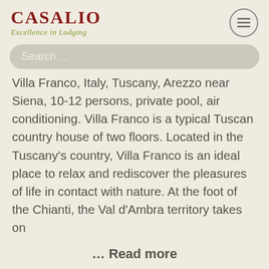CASALIO Excellence in Lodging
Search …
Villa Franco, Italy, Tuscany, Arezzo near Siena, 10-12 persons, private pool, air conditioning. Villa Franco is a typical Tuscan country house of two floors. Located in the Tuscany's country, Villa Franco is an ideal place to relax and rediscover the pleasures of life in contact with nature. At the foot of the Chianti, the Val d'Ambra territory takes on
… Read more
[Figure (other): Social media icons: Facebook, Pinterest, Twitter, Instagram, RSS]